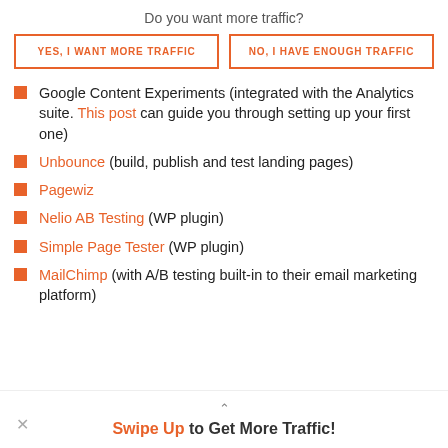Do you want more traffic?
YES, I WANT MORE TRAFFIC
NO, I HAVE ENOUGH TRAFFIC
Google Content Experiments (integrated with the Analytics suite. This post can guide you through setting up your first one)
Unbounce (build, publish and test landing pages)
Pagewiz
Nelio AB Testing (WP plugin)
Simple Page Tester (WP plugin)
MailChimp (with A/B testing built-in to their email marketing platform)
Swipe Up to Get More Traffic!